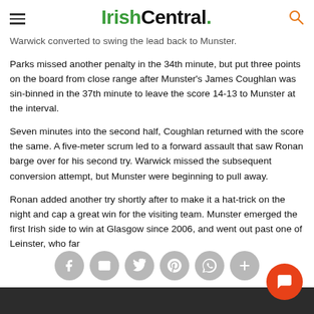IrishCentral.
Warwick converted to swing the lead back to Munster.
Parks missed another penalty in the 34th minute, but put three points on the board from close range after Munster's James Coughlan was sin-binned in the 37th minute to leave the score 14-13 to Munster at the interval.
Seven minutes into the second half, Coughlan returned with the score the same. A five-meter scrum led to a forward assault that saw Ronan barge over for his second try. Warwick missed the subsequent conversion attempt, but Munster were beginning to pull away.
Ronan added another try shortly after to make it a hat-trick on the night and cap a great win for the visiting team. Munster emerged the first Irish side to win at Glasgow since 2006, and went out past one of Leinster, who fa...